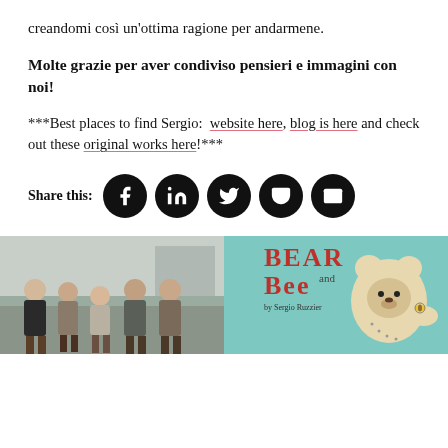creandomi così un'ottima ragione per andarmene.
Molte grazie per aver condiviso pensieri e immagini con noi!
***Best places to find Sergio:  website here, blog is here and check out these original works here!***
Share this:
[Figure (infographic): Social share buttons: Facebook, LinkedIn, Twitter, Pocket, Email]
[Figure (photo): Left: group photo of five people standing outdoors. Right: book cover showing 'BEAR and Bee' by Sergio Ruzzier with illustrated bear character on teal background.]